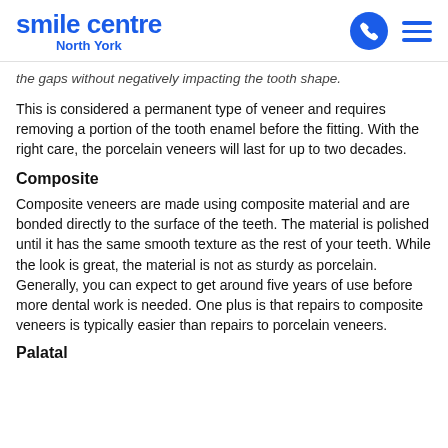smile centre North York
the gaps without negatively impacting the tooth shape.
This is considered a permanent type of veneer and requires removing a portion of the tooth enamel before the fitting. With the right care, the porcelain veneers will last for up to two decades.
Composite
Composite veneers are made using composite material and are bonded directly to the surface of the teeth. The material is polished until it has the same smooth texture as the rest of your teeth. While the look is great, the material is not as sturdy as porcelain. Generally, you can expect to get around five years of use before more dental work is needed. One plus is that repairs to composite veneers is typically easier than repairs to porcelain veneers.
Palatal